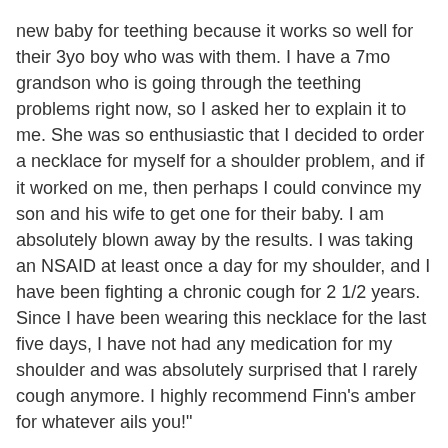new baby for teething because it works so well for their 3yo boy who was with them. I have a 7mo grandson who is going through the teething problems right now, so I asked her to explain it to me. She was so enthusiastic that I decided to order a necklace for myself for a shoulder problem, and if it worked on me, then perhaps I could convince my son and his wife to get one for their baby. I am absolutely blown away by the results. I was taking an NSAID at least once a day for my shoulder, and I have been fighting a chronic cough for 2 1/2 years. Since I have been wearing this necklace for the last five days, I have not had any medication for my shoulder and was absolutely surprised that I rarely cough anymore. I highly recommend Finn's amber for whatever ails you!"
-  Patti
"I have 4 disc herniations in the C-Spine and a partial tear in my rotator cuff right shoulder along with other damage.  I am in severe pain everyday.  My normal daily pain is an average of 8/10.  I would complain constantly to my husband about how tight and sore my neck always felt.  I was miserable at night, I was miserable at work and overall just a cranky hot mess.  I would have to take muscle relaxers, pain pills and daily anti-